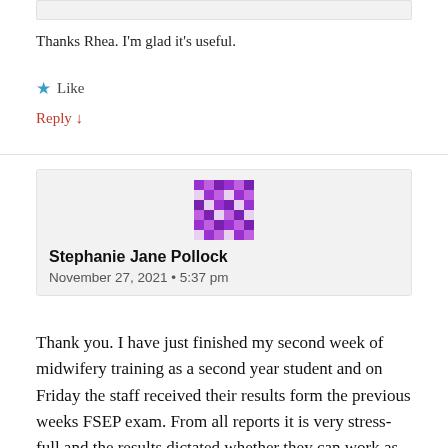Thanks Rhea. I'm glad it's useful.
★ Like
Reply ↓
[Figure (other): Avatar image for Stephanie Jane Pollock — purple pixel/mosaic pattern gravatar]
Stephanie Jane Pollock
November 27, 2021 • 5:37 pm
Thank you. I have just finished my second week of midwifery training as a second year student and on Friday the staff received their results form the previous weeks FSEP exam. From all reports it is very stress-full and the results dictated whether they can work as midwives in birth suite, depending on being a level 1,2 or 3 score. On the